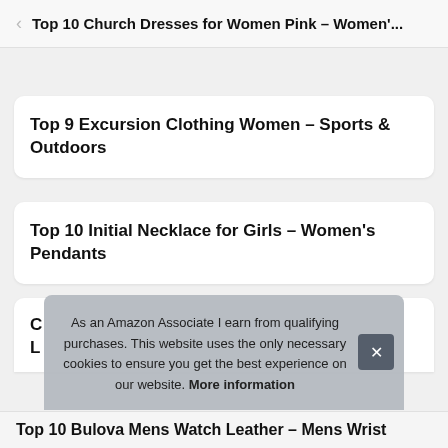Top 10 Church Dresses for Women Pink – Women'...
Top 9 Excursion Clothing Women – Sports & Outdoors
Top 10 Initial Necklace for Girls – Women's Pendants
As an Amazon Associate I earn from qualifying purchases. This website uses the only necessary cookies to ensure you get the best experience on our website. More information
Top 10 Bulova Mens Watch Leather – Mens Wrist